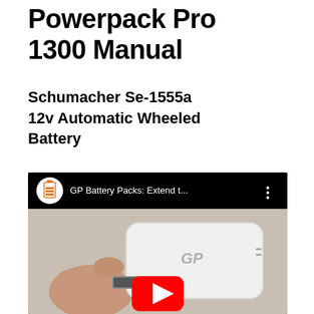Powerpack Pro 1300 Manual
Schumacher Se-1555a 12v Automatic Wheeled Battery
[Figure (screenshot): YouTube video embed showing 'GP Battery Packs: Extend t...' with a thumbnail of a hand inserting a USB cable into a white GP branded power bank. A red YouTube play button is centered on the thumbnail.]